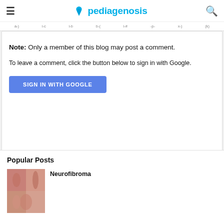pediagenosis
a-) i-c i-b b-( i-# -p- x-) (k)
Note: Only a member of this blog may post a comment.
To leave a comment, click the button below to sign in with Google.
SIGN IN WITH GOOGLE
Popular Posts
Neurofibroma
[Figure (photo): Thumbnail image for Neurofibroma article showing skin/medical imagery]